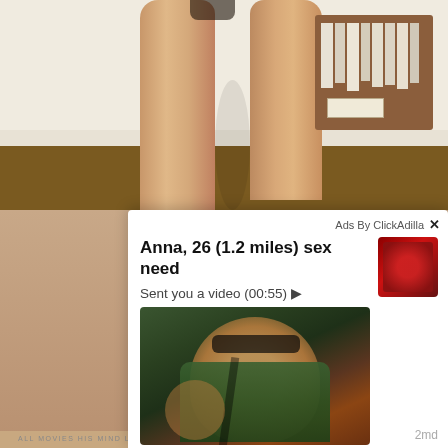[Figure (photo): Background photo showing legs of a person standing near a wooden storage box with files, indoor setting with wood floor and white wall]
[Figure (screenshot): Advertisement overlay from ClickAdilla showing a dating/adult ad for 'Anna, 26 (1.2 miles) sex need' with thumbnail of woman in red bikini top and main image of woman with glasses in green top sitting in car]
Ads By ClickAdilla
Anna, 26 (1.2 miles) sex need
Sent you a video (00:55) ▶
2md